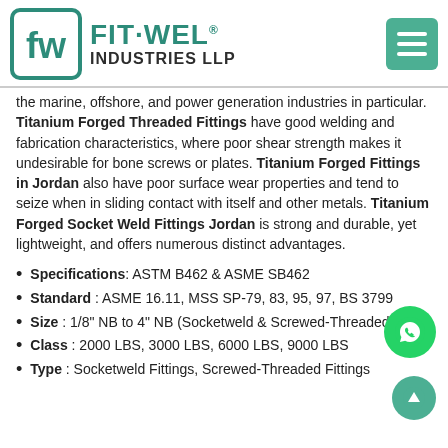[Figure (logo): Fit-Wel Industries LLP logo with stylized fw icon in teal border box and company name text]
the marine, offshore, and power generation industries in particular. Titanium Forged Threaded Fittings have good welding and fabrication characteristics, where poor shear strength makes it undesirable for bone screws or plates. Titanium Forged Fittings in Jordan also have poor surface wear properties and tend to seize when in sliding contact with itself and other metals. Titanium Forged Socket Weld Fittings Jordan is strong and durable, yet lightweight, and offers numerous distinct advantages.
Specifications: ASTM B462 & ASME SB462
Standard: ASME 16.11, MSS SP-79, 83, 95, 97, BS 3799
Size: 1/8" NB to 4" NB (Socketweld & Screwed-Threaded)
Class: 2000 LBS, 3000 LBS, 6000 LBS, 9000 LBS
Type: Socketweld Fittings, Screwed-Threaded Fittings